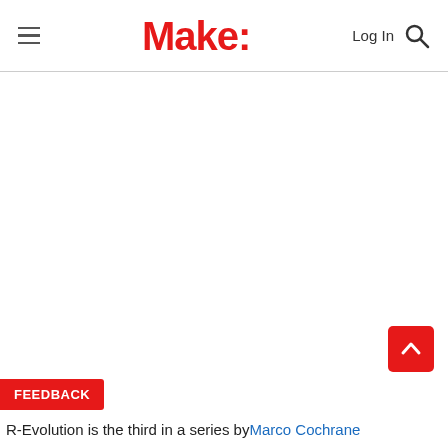Make: Log In [search]
R-Evolution is the third in a series by Marco Cochrane